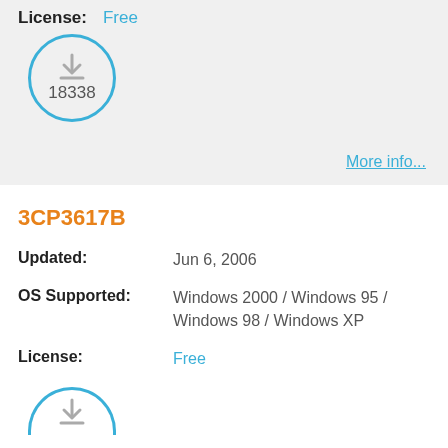License: Free
[Figure (other): Download icon circle with count 18338]
More info...
3CP3617B
Updated: Jun 6, 2006
OS Supported: Windows 2000 / Windows 95 / Windows 98 / Windows XP
License: Free
[Figure (other): Partial download icon circle (bottom cropped)]